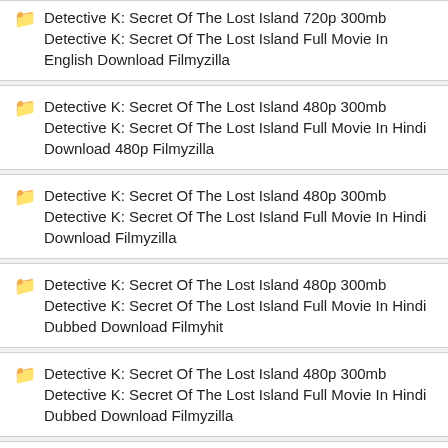Detective K: Secret Of The Lost Island 720p 300mb Detective K: Secret Of The Lost Island Full Movie In English Download Filmyzilla
Detective K: Secret Of The Lost Island 480p 300mb Detective K: Secret Of The Lost Island Full Movie In Hindi Download 480p Filmyzilla
Detective K: Secret Of The Lost Island 480p 300mb Detective K: Secret Of The Lost Island Full Movie In Hindi Download Filmyzilla
Detective K: Secret Of The Lost Island 480p 300mb Detective K: Secret Of The Lost Island Full Movie In Hindi Dubbed Download Filmyhit
Detective K: Secret Of The Lost Island 480p 300mb Detective K: Secret Of The Lost Island Full Movie In Hindi Dubbed Download Filmyzilla
Detective K: Secret Of The Lost Island 480p 300mb Detective K: Secret Of The Lost Island Full Movie In Hindi Free Download 300mb Khatrimaza